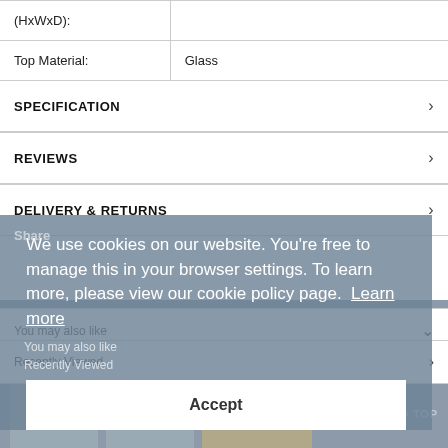| (HxWxD): |  |
| Top Material: | Glass |
SPECIFICATION
REVIEWS
DELIVERY & RETURNS
Share
We use cookies on our website. You're free to manage this in your browser settings. To learn more, please view our cookie policy page.  Learn more
You may also like
Recently Viewed
Accept
SCROLL TO TOP